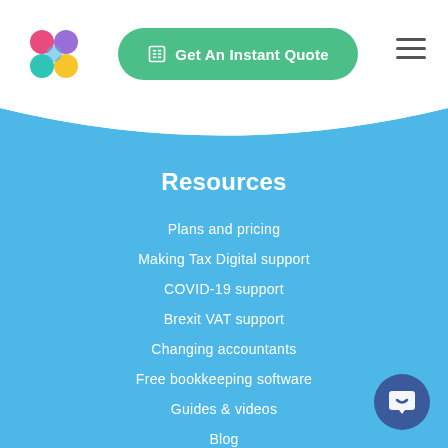[Figure (logo): Colorful circular logo with pink, blue/teal, green, yellow dots arranged in a plus/flower pattern]
[Figure (other): Green rounded button with calculator icon and text 'Get An Instant Quote']
[Figure (other): Hamburger menu icon (three horizontal lines)]
Resources
Plans and pricing
Making Tax Digital support
COVID-19 support
Brexit VAT support
Changing accountants
Free bookkeeping software
Guides & videos
Blog
Ask an accountant
Tax calculators
Instant quote
[Figure (other): Dark blue circular chat/support bubble icon in bottom right corner]